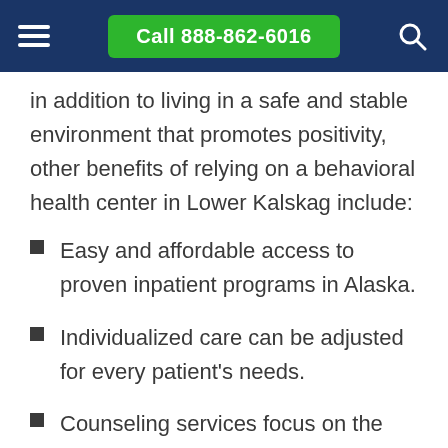Call 888-862-6016
in addition to living in a safe and stable environment that promotes positivity, other benefits of relying on a behavioral health center in Lower Kalskag include:
Easy and affordable access to proven inpatient programs in Alaska.
Individualized care can be adjusted for every patient's needs.
Counseling services focus on the peer and counselor support system in Lower Kalskag.